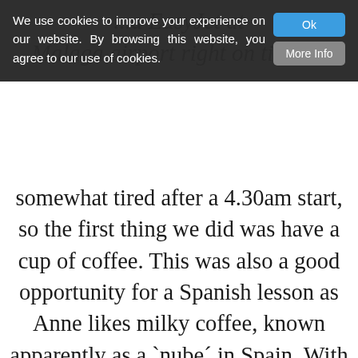...a EasyJet at Malaga airport right on time. If somewhat tired after a 4.30am start, so the first thing we did was have a cup of coffee. This was also a good opportunity for a Spanish lesson as Anne likes milky coffee, known apparently as a 'nube' in Spain. With this good start we launched into the chaos of getting out of the airport. With all the building work going on, which we had seen from the sky, this took a little while but soon we were on our way. Rather than going on the motorway which is the easiest way, Yvonne thought it would be nicer for
We use cookies to improve your experience on our website. By browsing this website, you agree to our use of cookies.